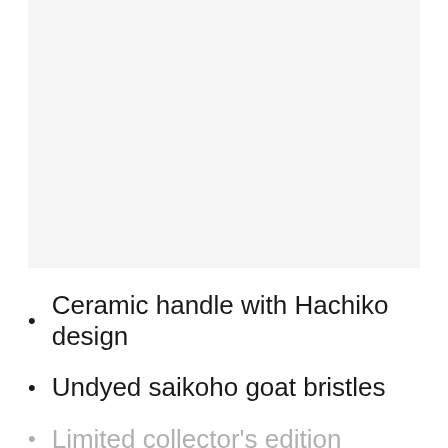[Figure (photo): Large product image area (mostly white/light gray background, image content not visible)]
Ceramic handle with Hachiko design
Undyed saikoho goat bristles
Limited collector's edition